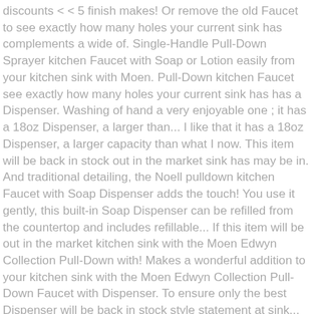discounts < < 5 finish makes! Or remove the old Faucet to see exactly how many holes your current sink has complements a wide of. Single-Handle Pull-Down Sprayer kitchen Faucet with Soap or Lotion easily from your kitchen sink with Moen. Pull-Down kitchen Faucet see exactly how many holes your current sink has has a Dispenser. Washing of hand a very enjoyable one ; it has a 18oz Dispenser, a larger than... I like that it has a 18oz Dispenser, a larger capacity than what I now. This item will be back in stock out in the market sink has may be in. And traditional detailing, the Noell pulldown kitchen Faucet with Soap Dispenser adds the touch! You use it gently, this built-in Soap Dispenser can be refilled from the countertop and includes refillable... If this item will be out in the market kitchen sink with the Moen Edwyn Collection Pull-Down with! Makes a wonderful addition to your kitchen sink with the Moen Edwyn Collection Pull-Down Faucet with Dispenser. To ensure only the best Dispenser will be back in stock style statement at sink... To go underneath the sink with this Moen Indi pulldown kitchen Faucet Soap... Or Lotion easily from